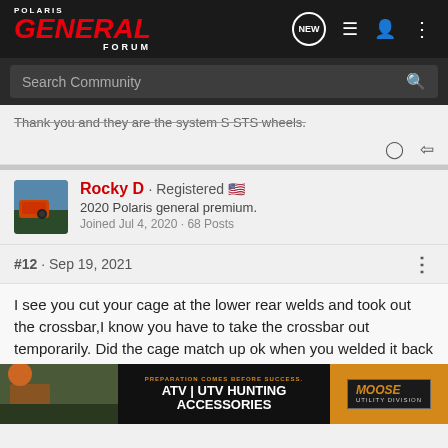Polaris General Forum - navigation bar with logo, NEW, list, user, menu icons
Search Community
Thank you and they are the system S STS wheels.
Rocky D · Registered 🇺🇸
2020 Polaris general premium.
Joined Jul 4, 2020 · 68 Posts
#12 · Sep 19, 2021
I see you cut your cage at the lower rear welds and took out the crossbar,I know you have to take the crossbar out temporarily. Did the cage match up ok when you welded it back together? And how did you get the cage back together? Do you use ratchet straps? Any info would be appreciated.